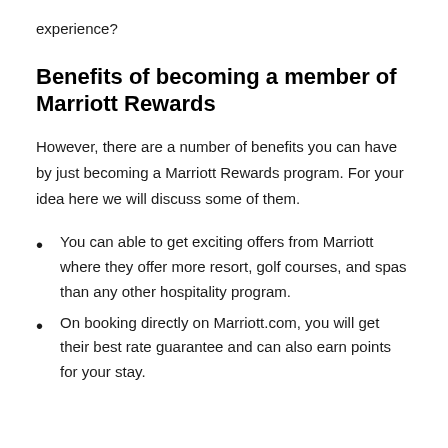experience?
Benefits of becoming a member of Marriott Rewards
However, there are a number of benefits you can have by just becoming a Marriott Rewards program. For your idea here we will discuss some of them.
You can able to get exciting offers from Marriott where they offer more resort, golf courses, and spas than any other hospitality program.
On booking directly on Marriott.com, you will get their best rate guarantee and can also earn points for your stay.